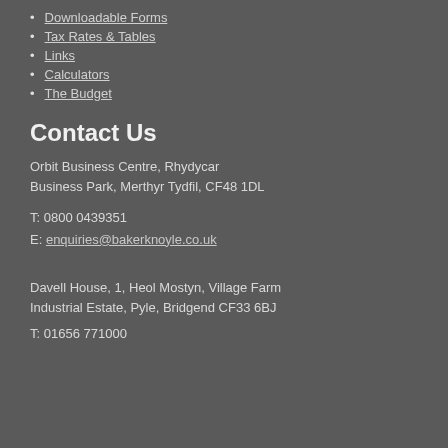Downloadable Forms
Tax Rates & Tables
Links
Calculators
The Budget
Contact Us
Orbit Business Centre, Rhydycar Business Park, Merthyr Tydfil, CF48 1DL
T: 0800 0439351
E: enquiries@bakerknoyle.co.uk
Davell House, 1, Heol Mostyn, Village Farm Industrial Estate, Pyle, Bridgend CF33 6BJ
T: 01656 771000